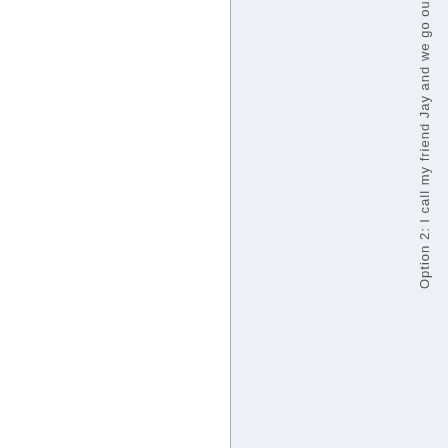Option 2: I call my friend Jay and we go ou